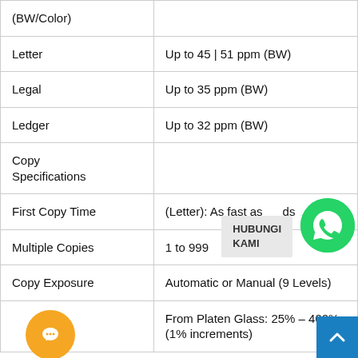| Feature | Specification |
| --- | --- |
| (BW/Color) |  |
| Letter | Up to 45 | 51 ppm (BW) |
| Legal | Up to 35 ppm (BW) |
| Ledger | Up to 32 ppm (BW) |
| Copy Specifications |  |
| First Copy Time | (Letter): As fast as [value] |
| Multiple Copies | 1 to 999 |
| Copy Exposure | Automatic or Manual (9 Levels) |
|  | From Platen Glass: 25% – 400%
(1% increments) |